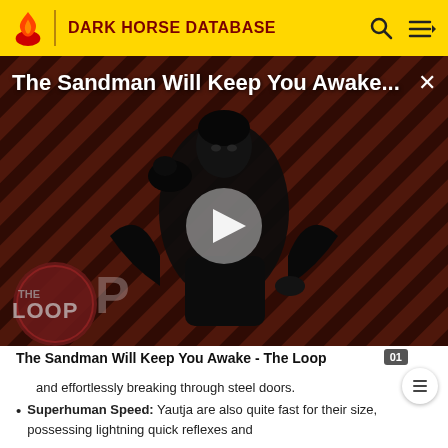DARK HORSE DATABASE
[Figure (screenshot): Video thumbnail showing a dark figure in a black cape holding a raven, with diagonal stripe background in dark red/brown. Text overlay reads 'The Sandman Will Keep You Awake...' with a play button in center and 'THE LOOP' logo at bottom left.]
The Sandman Will Keep You Awake - The Loop
and effortlessly breaking through steel doors.
Superhuman Speed: Yautja are also quite fast for their size, possessing lightning quick reflexes and